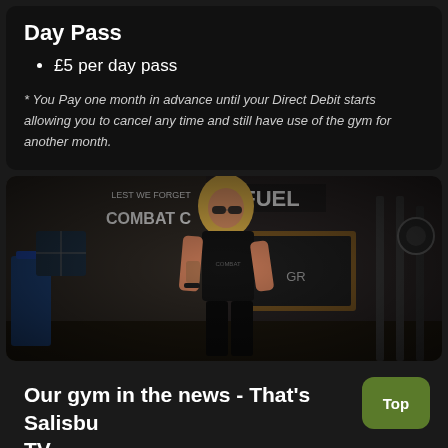Day Pass
£5 per day pass
* You Pay one month in advance until your Direct Debit starts allowing you to cancel any time and still have use of the gym for another month.
[Figure (photo): Woman with blonde hair in a black t-shirt working out in a gym with signs including FUEL, LEST WE FORGET, COMBAT visible in the background along with gym equipment.]
Our gym in the news - That's Salisbury TV